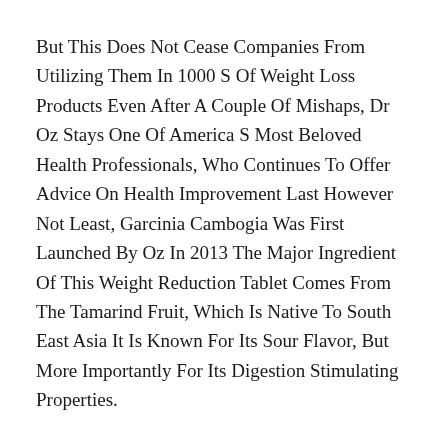But This Does Not Cease Companies From Utilizing Them In 1000 S Of Weight Loss Products Even After A Couple Of Mishaps, Dr Oz Stays One Of America S Most Beloved Health Professionals, Who Continues To Offer Advice On Health Improvement Last However Not Least, Garcinia Cambogia Was First Launched By Oz In 2013 The Major Ingredient Of This Weight Reduction Tablet Comes From The Tamarind Fruit, Which Is Native To South East Asia It Is Known For Its Sour Flavor, But More Importantly For Its Digestion Stimulating Properties.
If You Ve Used The Product And Don T Settle For It, You Must Return It Within 30 Days Of The Said Order Date To Date, No Shopper Has Published The Unfavorable Outcomes For The Phenq Drugs You Can Use It Successfully Without Worrying About Its Ill Results The